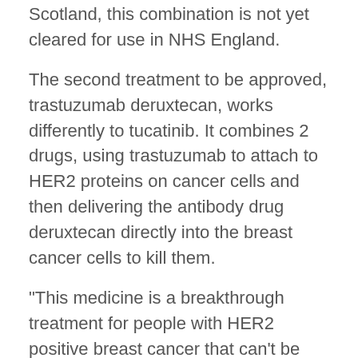Scotland, this combination is not yet cleared for use in NHS England.
The second treatment to be approved, trastuzumab deruxtecan, works differently to tucatinib. It combines 2 drugs, using trastuzumab to attach to HER2 proteins on cancer cells and then delivering the antibody drug deruxtecan directly into the breast cancer cells to kill them.
“This medicine is a breakthrough treatment for people with HER2 positive breast cancer that can’t be removed by surgery, or whose cancer has spread,” said David Ferguson, public affairs manager for Cancer Research UK in Scotland.
“Recent and ongoing studies suggest that the drug could give patients with HER2 positive breast cancer more time before their disease